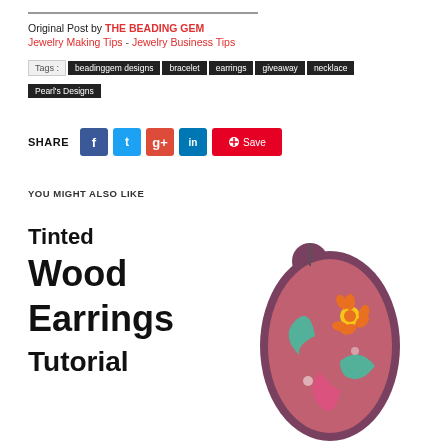Original Post by THE BEADING GEM
Jewelry Making Tips - Jewelry Business Tips
Tags : beadinggem designs bracelet earrings giveaway necklace Pearl's Designs
SHARE
YOU MIGHT ALSO LIKE
[Figure (illustration): Printed Wood Earrings tutorial preview image showing patterned wood earrings with floral paisley design]